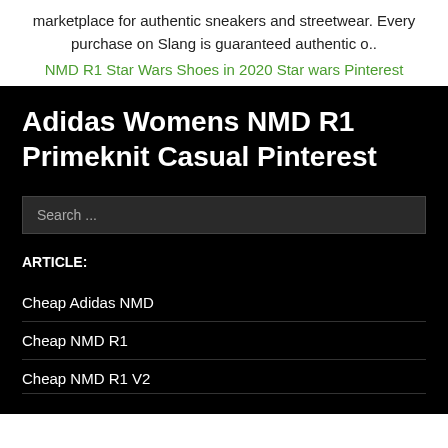marketplace for authentic sneakers and streetwear. Every purchase on Slang is guaranteed authentic o..
NMD R1 Star Wars Shoes in 2020 Star wars Pinterest
Adidas Womens NMD R1 Primeknit Casual Pinterest
Search ...
ARTICLE:
Cheap Adidas NMD
Cheap NMD R1
Cheap NMD R1 V2